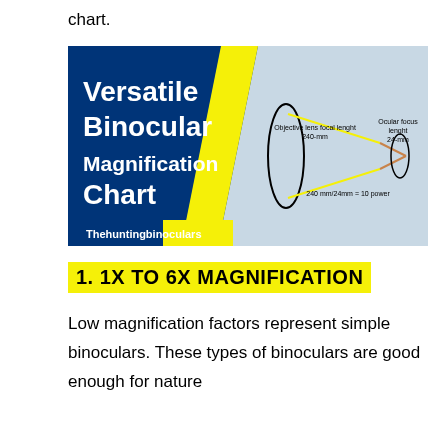chart.
[Figure (infographic): Versatile Binocular Magnification Chart showing objective lens focal length 240mm and ocular focus length 24mm with diagram of light rays through lenses. 240mm/24mm = 10 power. Branded by Thehuntingbinoculars.]
1. 1X TO 6X MAGNIFICATION
Low magnification factors represent simple binoculars. These types of binoculars are good enough for nature